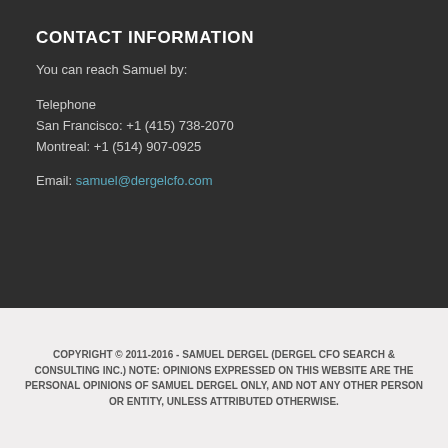CONTACT INFORMATION
You can reach Samuel by:
Telephone
San Francisco: +1 (415) 738-2070
Montreal: +1 (514) 907-0925
Email: samuel@dergelcfo.com
COPYRIGHT © 2011-2016 - SAMUEL DERGEL (DERGEL CFO SEARCH & CONSULTING INC.) NOTE: OPINIONS EXPRESSED ON THIS WEBSITE ARE THE PERSONAL OPINIONS OF SAMUEL DERGEL ONLY, AND NOT ANY OTHER PERSON OR ENTITY, UNLESS ATTRIBUTED OTHERWISE.